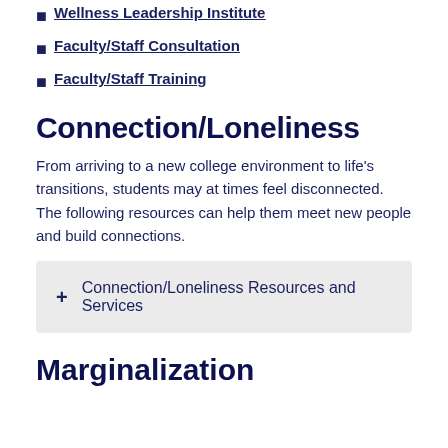Wellness Leadership Institute
Faculty/Staff Consultation
Faculty/Staff Training
Connection/Loneliness
From arriving to a new college environment to life's transitions, students may at times feel disconnected. The following resources can help them meet new people and build connections.
+ Connection/Loneliness Resources and Services
Marginalization